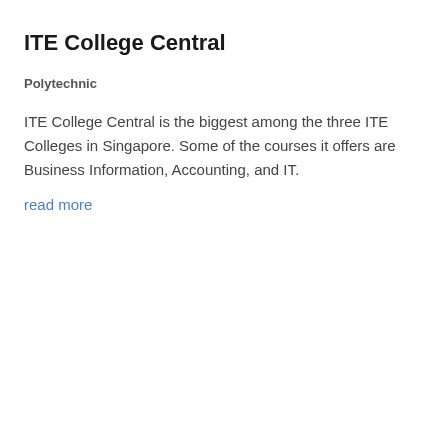ITE College Central
Polytechnic
ITE College Central is the biggest among the three ITE Colleges in Singapore. Some of the courses it offers are Business Information, Accounting, and IT.
read more